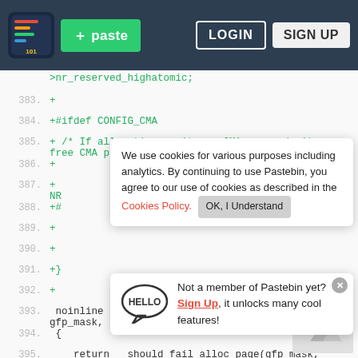Pastebin navigation bar with logo, + paste button, LOGIN and SIGN UP buttons
>nr_reserved_highatomic;
383.  +
384.  +#ifdef CONFIG_CMA
385.  +    /* If allocation can't use CMA areas don't use free CMA pages */
386.  +
387.  +
NR
We use cookies for various purposes including analytics. By continuing to use Pastebin, you agree to our use of cookies as described in the Cookies Policy.  OK, I Understand
388.  +#
389.  +
Not a member of Pastebin yet? Sign Up, it unlocks many cool features!
390.  +
391.  +}
392.  +
393.   noinline bool should_fail_alloc_page(gfp_t gfp_mask, unsigned int order)
394.   {
395.       return __should_fail_alloc_page(gfp_mask,